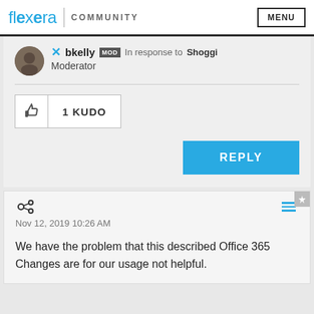Flexera | COMMUNITY  MENU
bkelly MOD In response to Shoggi
Moderator
1 KUDO
REPLY
Nov 12, 2019 10:26 AM
We have the problem that this described Office 365 Changes are for our usage not helpful.